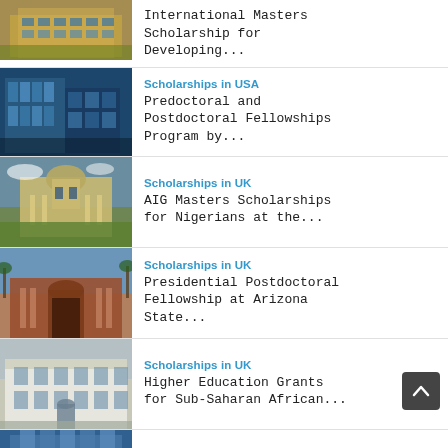[Figure (photo): Modern university building with glass facade]
International Masters Scholarship for Developing...
[Figure (photo): University building with blue modern architecture]
Scholarships in USA
Predoctoral and Postdoctoral Fellowships Program by...
[Figure (photo): Historic UK university building with formal gardens]
Scholarships in UK
AIG Masters Scholarships for Nigerians at the...
[Figure (photo): University building with reddish brick entrance and columns]
Scholarships in UK
Presidential Postdoctoral Fellowship at Arizona State...
[Figure (photo): White classical European building exterior]
Scholarships in UK
Higher Education Grants for Sub-Saharan African...
[Figure (photo): Partial view of another university building]